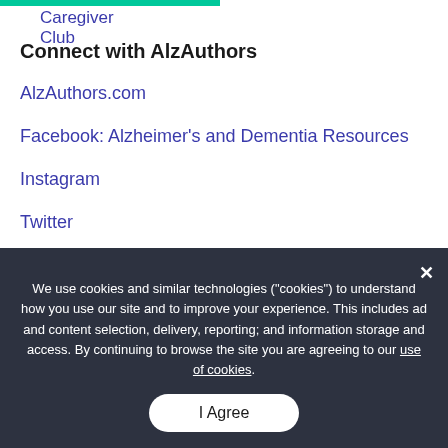Caregiver Club
Connect with AlzAuthors
AlzAuthors.com
Facebook: Alzheimer's and Dementia Resources
Instagram
Twitter
LinkedIn
We use cookies and similar technologies ("cookies") to understand how you use our site and to improve your experience. This includes ad and content selection, delivery, reporting; and information storage and access. By continuing to browse the site you are agreeing to our use of cookies.
I Agree